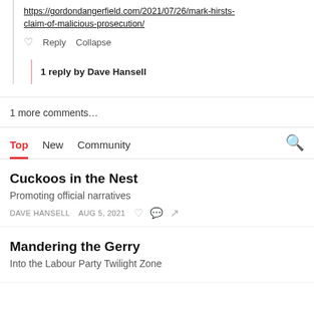https://gordondangerfield.com/2021/07/26/mark-hirsts-claim-of-malicious-prosecution/
Reply  Collapse
1 reply by Dave Hansell
1 more comments…
Top  New  Community
Cuckoos in the Nest
Promoting official narratives
DAVE HANSELL  AUG 5, 2021
Mandering the Gerry
Into the Labour Party Twilight Zone